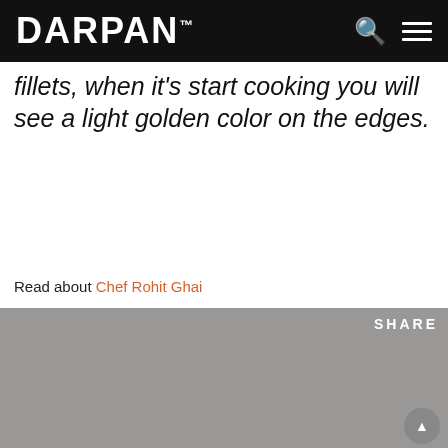DARPAN™
fillets, when it's start cooking you will see a light golden color on the edges.
Read about Chef Rohit Ghai
[Figure (photo): DARPAN magazine cover, July/August 2021 issue. Features a Sikh man wearing a black dastar (turban). Text on cover: REFLECTING THE SOUTH ASIAN LIFESTYLE, JULY | AUGUST 2021, Advocating for Autism Awareness, Leaving a Legacy, Youth Raising Funds For Senior Care Facility. SHARE button visible top right.]